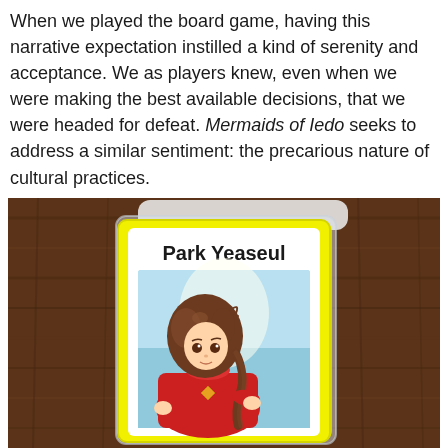When we played the board game, having this narrative expectation instilled a kind of serenity and acceptance. We as players knew, even when we were making the best available decisions, that we were headed for defeat. Mermaids of Iedo seeks to address a similar sentiment: the precarious nature of cultural practices.
[Figure (photo): Photograph of a board game card labeled 'Park Yeaseul' with a yellow border, showing an anime-style illustration of a girl with brown hair wearing a red outfit, placed on a wooden table surface. Other cards visible in the background.]